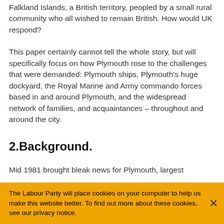Falkland Islands, a British territory, peopled by a small rural community who all wished to remain British. How would UK respond?
This paper certainly cannot tell the whole story, but will specifically focus on how Plymouth rose to the challenges that were demanded: Plymouth ships, Plymouth's huge dockyard, the Royal Marine and Army commando forces based in and around Plymouth, and the widespread network of families, and acquaintances – throughout and around the city.
2.Background.
Mid 1981 brought bleak news for Plymouth, largest
The Labour Party will place cookies on your computer to help us make this website better. To find out more about these cookies, see our privacy notice.